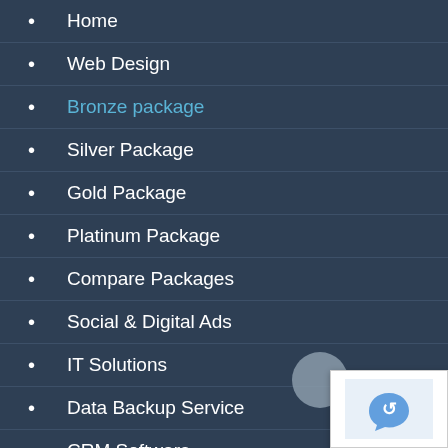Home
Web Design
Bronze package
Silver Package
Gold Package
Platinum Package
Compare Packages
Social & Digital Ads
IT Solutions
Data Backup Service
CRM Software
Contact us
Get In Touch
[Figure (other): reCAPTCHA widget with circular icon partially visible at bottom right corner]